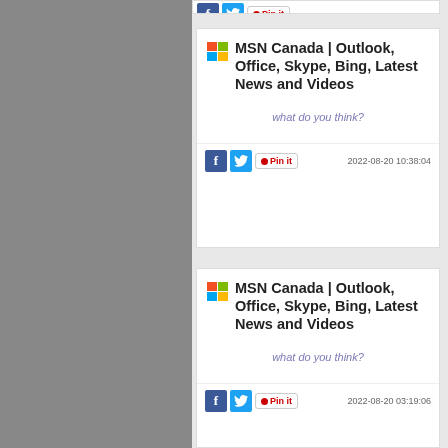[Figure (screenshot): Partial card at top showing social share icons (Facebook, Twitter, Pinterest)]
MSN Canada | Outlook, Office, Skype, Bing, Latest News and Videos
what do you think?
2022-08-20 10:38:04
MSN Canada | Outlook, Office, Skype, Bing, Latest News and Videos
what do you think?
2022-08-20 03:19:06